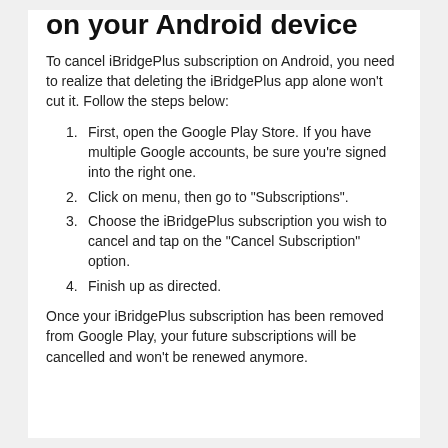on your Android device
To cancel iBridgePlus subscription on Android, you need to realize that deleting the iBridgePlus app alone won't cut it. Follow the steps below:
First, open the Google Play Store. If you have multiple Google accounts, be sure you're signed into the right one.
Click on menu, then go to "Subscriptions".
Choose the iBridgePlus subscription you wish to cancel and tap on the "Cancel Subscription" option.
Finish up as directed.
Once your iBridgePlus subscription has been removed from Google Play, your future subscriptions will be cancelled and won't be renewed anymore.